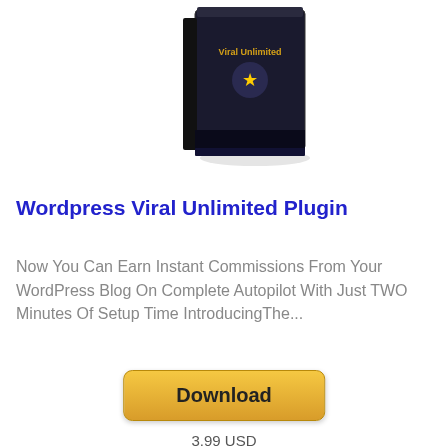[Figure (illustration): Software box image with dark background labeled 'Viral Unlimited']
Wordpress Viral Unlimited Plugin
Now You Can Earn Instant Commissions From Your WordPress Blog On Complete Autopilot With Just TWO Minutes Of Setup Time IntroducingThe...
[Figure (illustration): Download button with golden/yellow gradient background]
3.99 USD
[Figure (illustration): Book/product cover for 'All in One Free Stock Photos' with Wordpress Blog label]